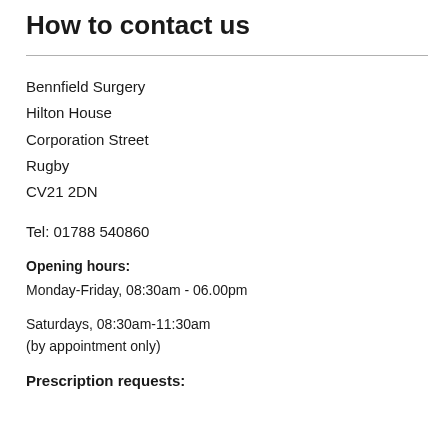How to contact us
Bennfield Surgery
Hilton House
Corporation Street
Rugby
CV21 2DN
Tel: 01788 540860
Opening hours:
Monday-Friday, 08:30am - 06.00pm
Saturdays, 08:30am-11:30am
(by appointment only)
Prescription requests: